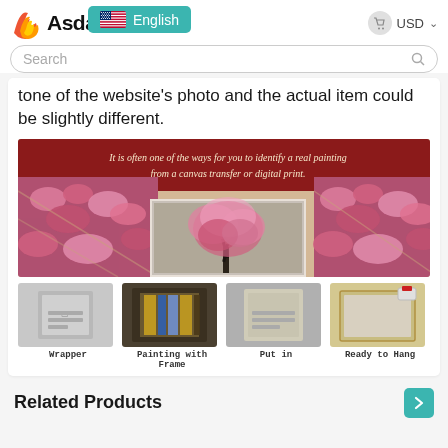AsdamArt — English — USD — Search
tone of the website's photo and the actual item could be slightly different.
[Figure (photo): Painting canvas collage showing pink flower/blossom tree artwork with close-up texture details and the text 'It is often one of the ways for you to identify a real painting from a canvas transfer or digital print.']
[Figure (photo): Four packaging steps: Wrapper, Painting with Frame, Put in, Ready to Hang]
Wrapper   Painting with Frame   Put in   Ready to Hang
Related Products